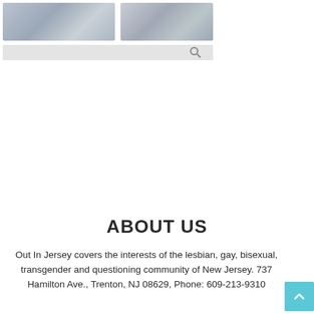[Figure (screenshot): Website header screenshot showing publication banner images and navigation bar with search icon, faded/greyed out]
ABOUT US
Out In Jersey covers the interests of the lesbian, gay, bisexual, transgender and questioning community of New Jersey. 737 Hamilton Ave., Trenton, NJ 08629, Phone: 609-213-9310